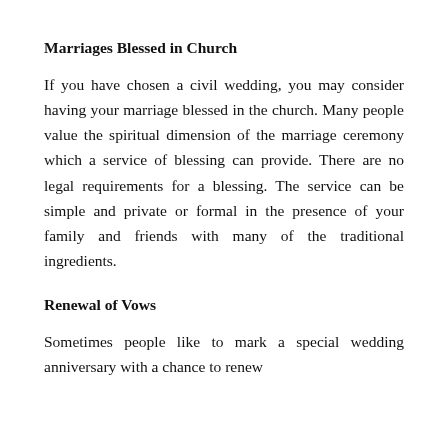Marriages Blessed in Church
If you have chosen a civil wedding, you may consider having your marriage blessed in the church. Many people value the spiritual dimension of the marriage ceremony which a service of blessing can provide. There are no legal requirements for a blessing. The service can be simple and private or formal in the presence of your family and friends with many of the traditional ingredients.
Renewal of Vows
Sometimes people like to mark a special wedding anniversary with a chance to renew